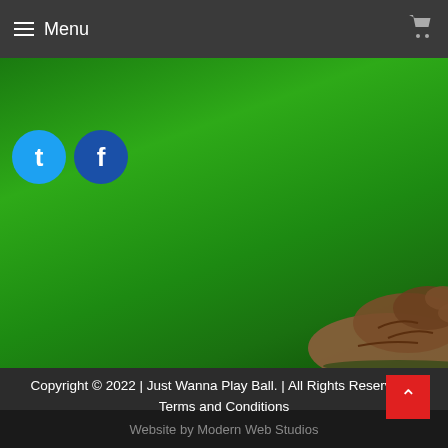Menu
[Figure (screenshot): Green baseball field background with Twitter and Facebook social media icons (circle buttons with 't' and 'f' letters) in top left, and a baseball glove visible in the bottom right corner]
Copyright © 2022 | Just Wanna Play Ball. | All Rights Reserved. | Terms and Conditions
Website by Modern Web Studios